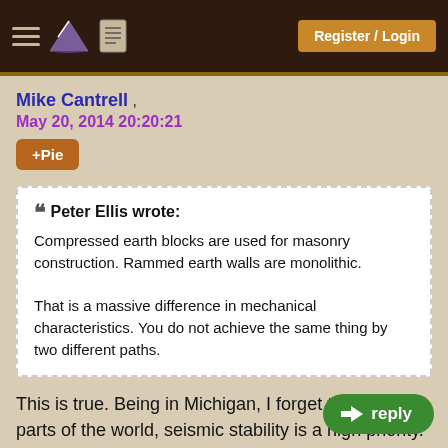Register / Login
Mike Cantrell ,
May 20, 2014 20:20:21
+Pie
❝ Peter Ellis wrote:
Compressed earth blocks are used for masonry construction. Rammed earth walls are monolithic.

That is a massive difference in mechanical characteristics. You do not achieve the same thing by two different paths.
This is true. Being in Michigan, I forget th... parts of the world, seismic stability is a high priority.
reply